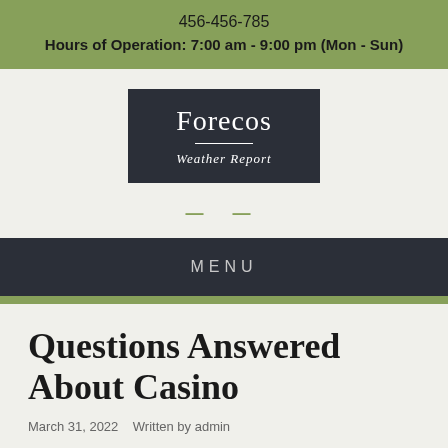456-456-785
Hours of Operation: 7:00 am - 9:00 pm (Mon - Sun)
[Figure (logo): Forecos Weather Report logo — dark background box with white serif text 'Forecos' and italic subtitle 'Weather Report' separated by a horizontal line]
— —
MENU
Questions Answered About Casino
March 31, 2022    Written by admin